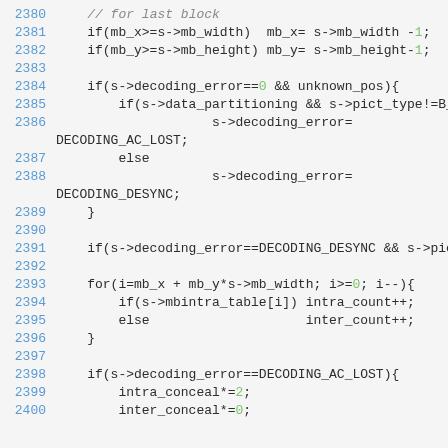[Figure (screenshot): Source code snippet showing C/C++ code lines 2380-2400 with syntax highlighting: line numbers in blue, numeric literals in green, on a light gray background.]